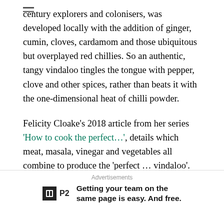century explorers and colonisers, was developed locally with the addition of ginger, cumin, cloves, cardamom and those ubiquitous but overplayed red chillies. So an authentic, tangy vindaloo tingles the tongue with pepper, clove and other spices, rather than beats it with the one-dimensional heat of chilli powder.
Felicity Cloake's 2018 article from her series 'How to cook the perfect…', details which meat, masala, vinegar and vegetables all combine to produce the 'perfect … vindaloo'. However, since neither pork, duck or 'shin of beef' are ever seen on the chopping boards of the Allen household, I thought you might like the lighter and fresher Sweet Potato (Kumara) Vindaloo from the wonderful Meera Sodha.
Advertisements
[Figure (other): Advertisement banner: P2 logo with text 'Getting your team on the same page is easy. And free.']